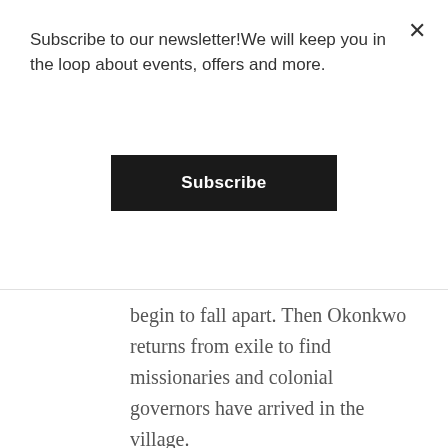Subscribe to our newsletter!We will keep you in the loop about events, offers and more.
Subscribe
begin to fall apart. Then Okonkwo returns from exile to find missionaries and colonial governors have arrived in the village.
With his world thrown radically off-balance he can only hurtle towards tragedy. First published in 1958, Chinua Achebe's stark, coolly ironic novel reshaped both African and world literature, and has sold over ten million copies in forty-five languages. This arresting parable of